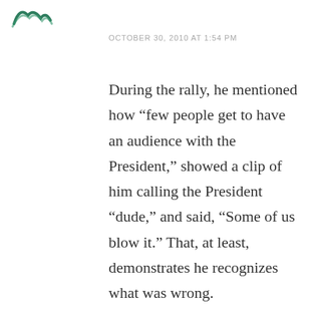[Figure (logo): Green decorative logo or icon in top left corner]
OCTOBER 30, 2010 AT 1:54 PM
During the rally, he mentioned how “few people get to have an audience with the President,” showed a clip of him calling the President “dude,” and said, “Some of us blow it.” That, at least, demonstrates he recognizes what was wrong.